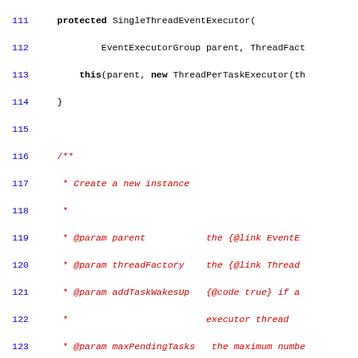Source code listing lines 111-138, Java class SingleThreadEventExecutor with Javadoc comments